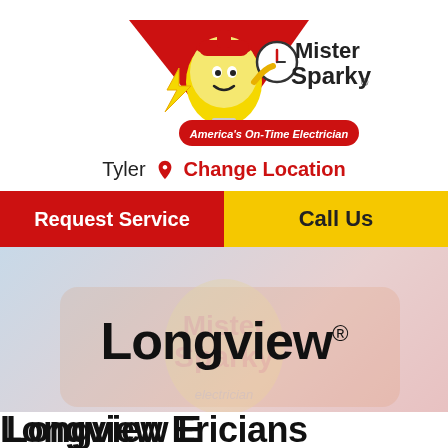[Figure (logo): Mister Sparky logo — animated light bulb character with clock, red cap, holding lightning bolt, with red chevron/triangle shape behind. Text reads 'Mister Sparky' and 'America's On-Time Electrician']
Tyler  Change Location
Request Service
Call Us
[Figure (photo): Hero image background showing a faded Mister Sparky branded vehicle/van with logo visible. Text overlay: 'Longview®']
Longview®
Longview Electricians